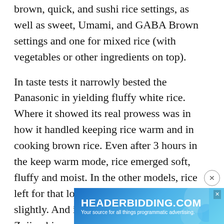brown, quick, and sushi rice settings, as well as sweet, Umami, and GABA Brown settings and one for mixed rice (with vegetables or other ingredients on top).
In taste tests it narrowly bested the Panasonic in yielding fluffy white rice. Where it showed its real prowess was in how it handled keeping rice warm and in cooking brown rice. Even after 3 hours in the keep warm mode, rice emerged soft, fluffy and moist. In the other models, rice left for that long suffered by drying out slightly. And in brown rice taste tests, the Zojirushi produced the best textured soft and fluffy brown rice.
If you want to push your culinary skills, the Zojirushi also gives you room to grow that other models do not provide. Its GABA setting for brown rice is intended to slowly cook the rice by "activating" it at a temperature of 104 degrees for 2 hours before cooking. It's supposed to increase the amoun[t of] ...d or GABA-[...] er
[Figure (other): Advertisement banner for HEADERBIDDING.COM with tagline 'Your source for all things programmatic advertising.' Blue gradient background with decorative circles. Has a close (X) button.]